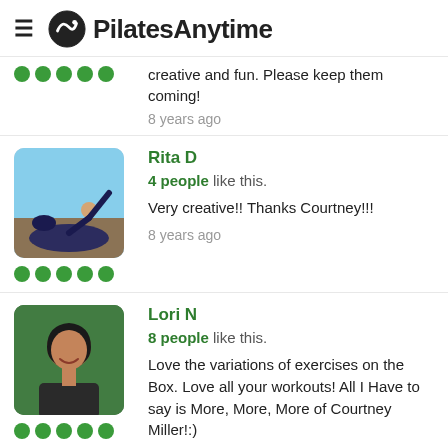PilatesAnytime
creative and fun. Please keep them coming!
8 years ago
Rita D
4 people like this.
Very creative!! Thanks Courtney!!!
8 years ago
Lori N
8 people like this.
Love the variations of exercises on the Box. Love all your workouts! All I Have to say is More, More, More of Courtney Miller!:)
8 years ago